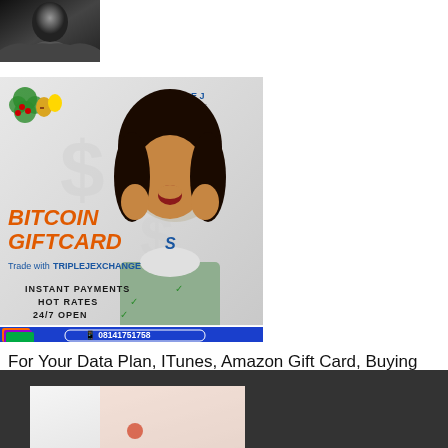[Figure (photo): Black and white photo of a person, cropped at top-left corner of the page]
[Figure (infographic): Triple J Exchange advertisement for Bitcoin and gift card trading. Features a woman with hands on cheeks, Christmas decorations, text: BITCOIN GIFTCARDS, Trade with TRIPLEJEXCHANGE, INSTANT PAYMENTS, HOT RATES, 24/7 OPEN, phone number 08141751758]
For Your Data Plan, ITunes, Amazon Gift Card, Buying And Selling Of Bitcoin. Contact: TRIPLE J DATA SOLUTIONS
[Figure (photo): Partial view of another image visible at the bottom of the page on dark background]